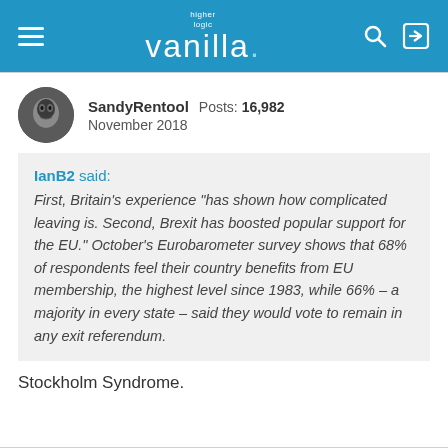higher logic vanilla
SandyRentool  Posts: 16,982
November 2018
IanB2 said:
First, Britain's experience “has shown how complicated leaving is. Second, Brexit has boosted popular support for the EU.” October’s Eurobarometer survey shows that 68% of respondents feel their country benefits from EU membership, the highest level since 1983, while 66% – a majority in every state – said they would vote to remain in any exit referendum.
Stockholm Syndrome.